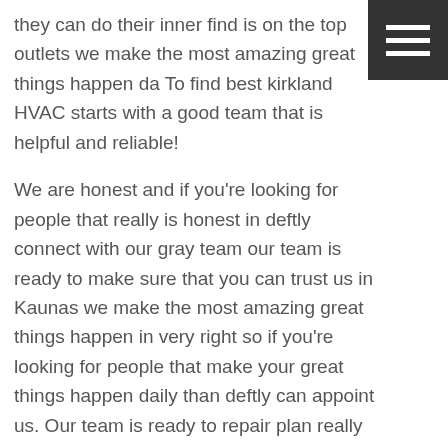they can do their inner find is on the top outlets we make the most amazing great things happen da To find best kirkland HVAC starts with a good team that is helpful and reliable!
We are honest and if you're looking for people that really is honest in deftly connect with our gray team our team is ready to make sure that you can trust us in Kaunas we make the most amazing great things happen in very right so if you're looking for people that make your great things happen daily than deftly can appoint us. Our team is ready to repair plan really is going to make a great difference in religiously on pathways that deftly connect with our gray stop we are trustworthy ethical reliable which is important